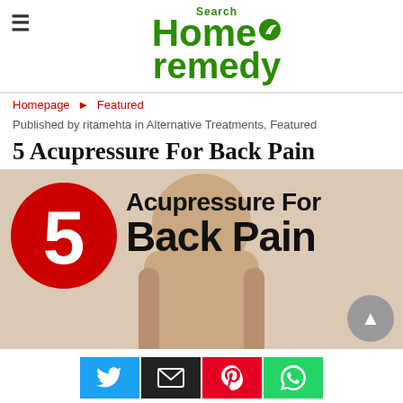Search Home remedy (logo)
Homepage ▶ Featured
Published by ritamehta in Alternative Treatments, Featured
5 Acupressure For Back Pain
[Figure (photo): Featured article image showing a person's bare back with red circle containing number 5, overlaid with text 'Acupressure For Back Pain'. A scroll-up button (grey circle with up arrow) appears in the bottom-right corner.]
[Figure (infographic): Social media sharing buttons: Twitter (blue), Email (black), Pinterest (red), WhatsApp (green)]